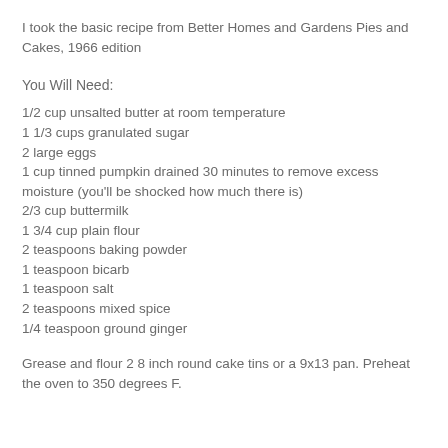I took the basic recipe from Better Homes and Gardens Pies and Cakes, 1966 edition
You Will Need:
1/2 cup unsalted butter at room temperature
1 1/3 cups granulated sugar
2 large eggs
1 cup tinned pumpkin drained 30 minutes to remove excess moisture (you'll be shocked how much there is)
2/3 cup buttermilk
1 3/4 cup plain flour
2 teaspoons baking powder
1 teaspoon bicarb
1 teaspoon salt
2 teaspoons mixed spice
1/4 teaspoon ground ginger
Grease and flour 2 8 inch round cake tins or a 9x13 pan. Preheat the oven to 350 degrees F.